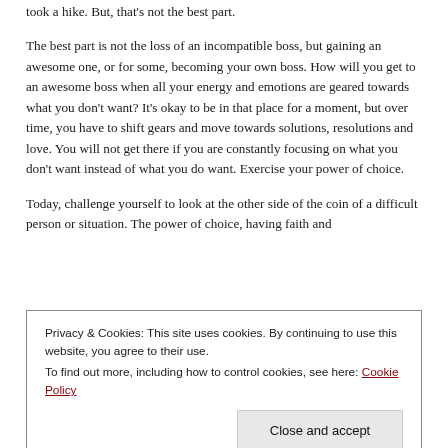took a hike. But, that's not the best part.
The best part is not the loss of an incompatible boss, but gaining an awesome one, or for some, becoming your own boss. How will you get to an awesome boss when all your energy and emotions are geared towards what you don't want? It's okay to be in that place for a moment, but over time, you have to shift gears and move towards solutions, resolutions and love. You will not get there if you are constantly focusing on what you don't want instead of what you do want. Exercise your power of choice.
Today, challenge yourself to look at the other side of the coin of a difficult person or situation. The power of choice, having faith and
Privacy & Cookies: This site uses cookies. By continuing to use this website, you agree to their use.
To find out more, including how to control cookies, see here: Cookie Policy
Close and accept
~Your Curator of all things Inspirational, Kimberly Jo Cooley